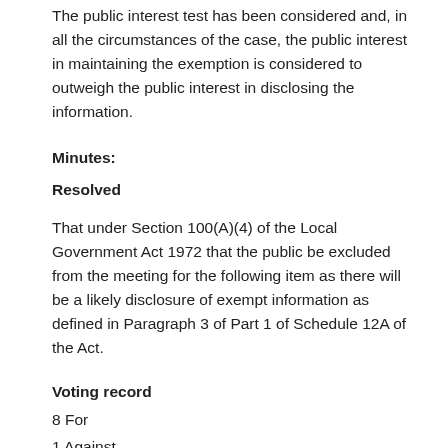The public interest test has been considered and, in all the circumstances of the case, the public interest in maintaining the exemption is considered to outweigh the public interest in disclosing the information.
Minutes:
Resolved
That under Section 100(A)(4) of the Local Government Act 1972 that the public be excluded from the meeting for the following item as there will be a likely disclosure of exempt information as defined in Paragraph 3 of Part 1 of Schedule 12A of the Act.
Voting record
8 For
1 Against
1 Abstention